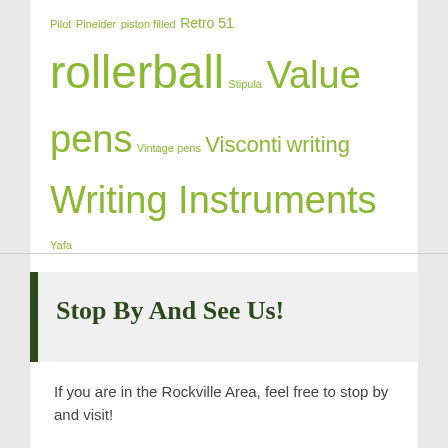Pilot Pineider piston filled Retro 51 Rollerball Stipula Value pens Vintage pens Visconti writing Writing Instruments Yafa
Stop By And See Us!
If you are in the Rockville Area, feel free to stop by and visit!
Bertram's Inkwell
11520-E Rockville Pike
Rockville, MD  20852